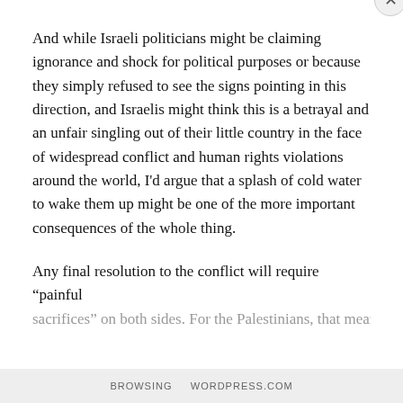And while Israeli politicians might be claiming ignorance and shock for political purposes or because they simply refused to see the signs pointing in this direction, and Israelis might think this is a betrayal and an unfair singling out of their little country in the face of widespread conflict and human rights violations around the world, I'd argue that a splash of cold water to wake them up might be one of the more important consequences of the whole thing.
Any final resolution to the conflict will require “painful sacrifices” on both sides. For the Palestinians, that means...
Privacy & Cookies: This site uses cookies. By continuing to use this website, you agree to their use.
To find out more, including how to control cookies, see here: Cookie Policy